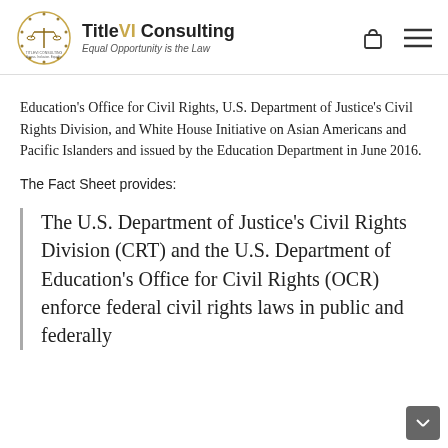TitleVI Consulting — Equal Opportunity is the Law
Education's Office for Civil Rights, U.S. Department of Justice's Civil Rights Division, and White House Initiative on Asian Americans and Pacific Islanders and issued by the Education Department in June 2016.
The Fact Sheet provides:
The U.S. Department of Justice's Civil Rights Division (CRT) and the U.S. Department of Education's Office for Civil Rights (OCR) enforce federal civil rights laws in public and federally